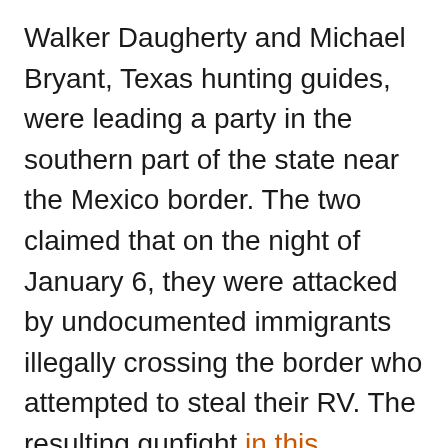Walker Daugherty and Michael Bryant, Texas hunting guides, were leading a party in the southern part of the state near the Mexico border. The two claimed that on the night of January 6, they were attacked by undocumented immigrants illegally crossing the border who attempted to steal their RV. The resulting gunfight in this fantastical version of events left Daugherty and another member of the group, Edwin Roberts, wounded by gunfire. It was exactly two weeks before Trump's inauguration, a perfect moment for xenophobes and right-wing opportunists to exploit the fake crime for their anti-immigrant agenda.
On Facebook, Trump Agriculture Commissioner-Old...